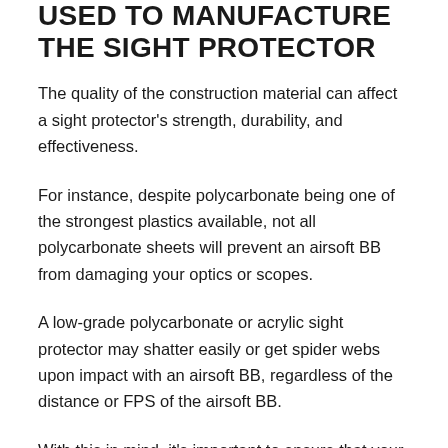USED TO MANUFACTURE THE SIGHT PROTECTOR
The quality of the construction material can affect a sight protector's strength, durability, and effectiveness.
For instance, despite polycarbonate being one of the strongest plastics available, not all polycarbonate sheets will prevent an airsoft BB from damaging your optics or scopes.
A low-grade polycarbonate or acrylic sight protector may shatter easily or get spider webs upon impact with an airsoft BB, regardless of the distance or FPS of the airsoft BB.
With this in mind, it's important to ensure that your